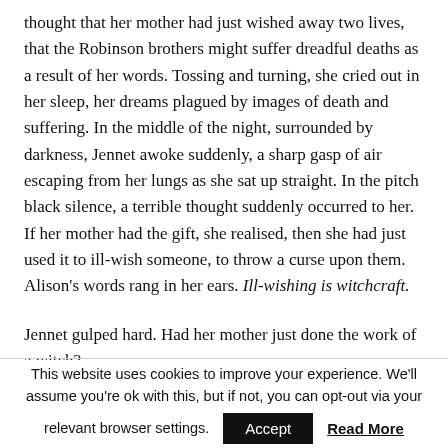thought that her mother had just wished away two lives, that the Robinson brothers might suffer dreadful deaths as a result of her words. Tossing and turning, she cried out in her sleep, her dreams plagued by images of death and suffering. In the middle of the night, surrounded by darkness, Jennet awoke suddenly, a sharp gasp of air escaping from her lungs as she sat up straight. In the pitch black silence, a terrible thought suddenly occurred to her. If her mother had the gift, she realised, then she had just used it to ill-wish someone, to throw a curse upon them. Alison's words rang in her ears. Ill-wishing is witchcraft.
Jennet gulped hard. Had her mother just done the work of a witch?
This website uses cookies to improve your experience. We'll assume you're ok with this, but if not, you can opt-out via your relevant browser settings. Accept Read More